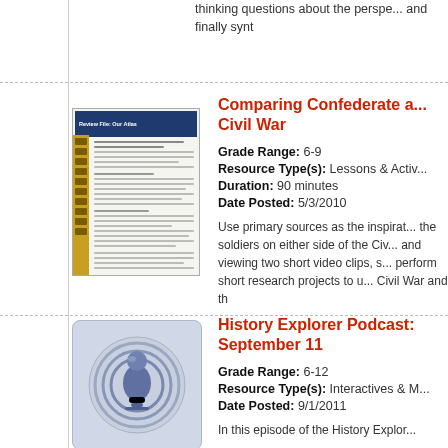thinking questions about the perspective and finally synt
Comparing Confederate a... Civil War
Grade Range: 6-9
Resource Type(s): Lessons & Activ...
Duration: 90 minutes
Date Posted: 5/3/2010
Use primary sources as the inspirat... the soldiers on either side of the Civ... and viewing two short video clips, s... perform short research projects to u... Civil War and th
[Figure (illustration): Thumbnail of a document with a dark blue header, gold sidebar, and text content lines]
History Explorer Podcast: September 11
Grade Range: 6-12
Resource Type(s): Interactives & M...
Date Posted: 9/1/2011
In this episode of the History Explor...
[Figure (illustration): Podcast icon: blue microphone/person silhouette with circular radio waves on light blue-grey background]